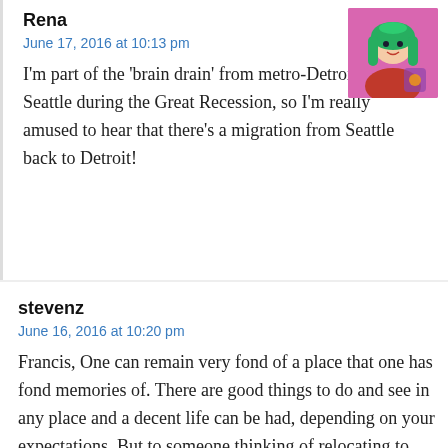Rena
June 17, 2016 at 10:13 pm
I'm part of the 'brain drain' from metro-Detroit to Seattle during the Great Recession, so I'm really amused to hear that there's a migration from Seattle back to Detroit!
stevenz
June 16, 2016 at 10:20 pm
Francis, One can remain very fond of a place that one has fond memories of. There are good things to do and see in any place and a decent life can be had, depending on your expectations. But to someone thinking of relocating to Detroit especially, someone has to pour cold [CLOSE] on the idea, and I volunteer to be the one. Most people who say good things about living in Detroit don't live in Detroit.